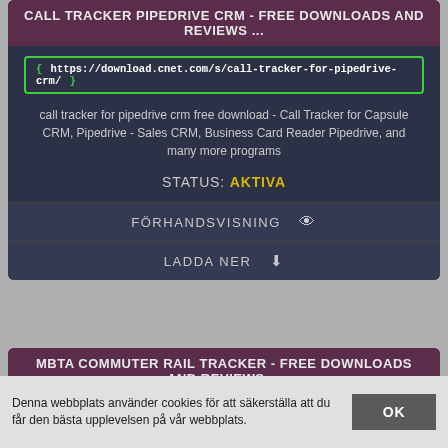CALL TRACKER PIPEDRIVE CRM - FREE DOWNLOADS AND REVIEWS ...
https://download.cnet.com/s/call-tracker-for-pipedrive-crm/
call tracker for pipedrive crm free download - Call Tracker for Capsule CRM, Pipedrive - Sales CRM, Business Card Reader Pipedrive, and many more programs
STATUS: AKTIVA
FÖRHANDSVISNING
LADDA NER
MBTA COMMUTER RAIL TRACKER - FREE DOWNLOADS AND REVIEWS ...
https://download.cnet.com/s/mbta-commuter-rail-tracker/
Denna webbplats använder cookies för att säkerställa att du får den bästa upplevelsen på vår webbplats.